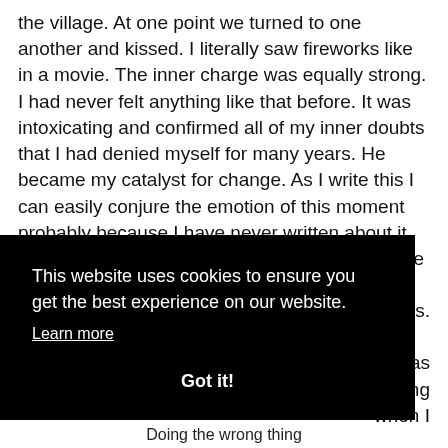the village. At one point we turned to one another and kissed. I literally saw fireworks like in a movie. The inner charge was equally strong. I had never felt anything like that before. It was intoxicating and confirmed all of my inner doubts that I had denied myself for many years. He became my catalyst for change. As I write this I can easily conjure the emotion of this moment probably because I have never written about it before. I've told a few people orally but there are simply stories one keeps to oneself. The more you tell a story, the more the power ...inishes. ...I was ...ng ...when I
This website uses cookies to ensure you get the best experience on our website. Learn more Got it!
Doing the wrong thing